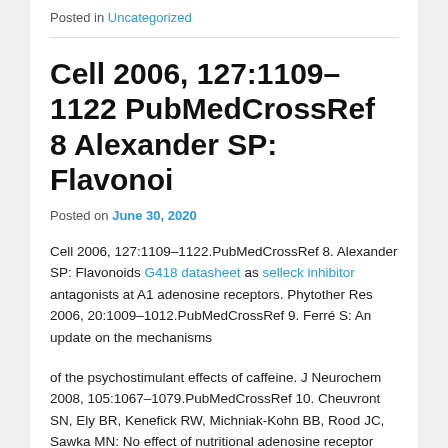Posted in Uncategorized
Cell 2006, 127:1109–1122 PubMedCrossRef 8 Alexander SP: Flavonoi
Posted on June 30, 2020
Cell 2006, 127:1109–1122.PubMedCrossRef 8. Alexander SP: Flavonoids G418 datasheet as selleck inhibitor antagonists at A1 adenosine receptors. Phytother Res 2006, 20:1009–1012.PubMedCrossRef 9. Ferré S: An update on the mechanisms
of the psychostimulant effects of caffeine. J Neurochem 2008, 105:1067–1079.PubMedCrossRef 10. Cheuvront SN, Ely BR, Kenefick RW, Michniak-Kohn BB, Rood JC, Sawka MN: No effect of nutritional adenosine receptor antagonists on exercise performance in the heat. Am J